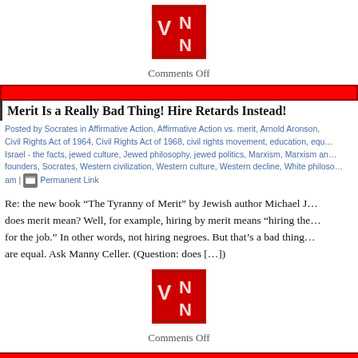[Figure (logo): VNN logo - red square with white letters VN on top and N on bottom]
Comments Off
[Figure (other): Red decorative bar divider]
Merit Is a Really Bad Thing! Hire Retards Instead!
Posted by Socrates in Affirmative Action, Affirmative Action vs. merit, Arnold Aronson, Civil Rights Act of 1964, Civil Rights Act of 1968, civil rights movement, education, equ... Israel - the facts, jewed culture, Jewed philosophy, jewed politics, Marxism, Marxism an... founders, Socrates, Western civilization, Western culture, Western decline, White philoso... am | Permanent Link
Re: the new book “The Tyranny of Merit” by Jewish author Michael J... does merit mean? Well, for example, hiring by merit means “hiring the... for the job.” In other words, not hiring negroes. But that’s a bad thing... are equal. Ask Manny Celler. (Question: does […]
[Figure (logo): VNN logo - red square with white letters VN on top and N on bottom]
Comments Off
[Figure (other): Red decorative bar divider]
Were All of the American Anti-Racism Groups Founded by J... Way.